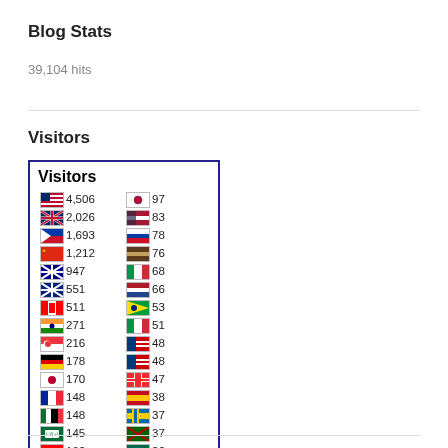Blog Stats
39,104 hits
Visitors
[Figure (infographic): Flag counter widget showing visitor counts by country. Visitors header, two-column list of country flags with visit counts: US 4,506; GB 2,026; PH 1,693; CN 1,212; AU 947; NZ 551; CA 511; IN 271; SG 216; DE 178; JP 170; FR 148; AE 148; SA 145; CH 106; KR 97; TH 83; RU 78; (brown flag) 76; IT 68; NL 66; BR 53; IT 51; MY 48; MX 48; NO 47; ES 38; SE 37; KE 37; BD 36. FLAG counter logo at bottom.]